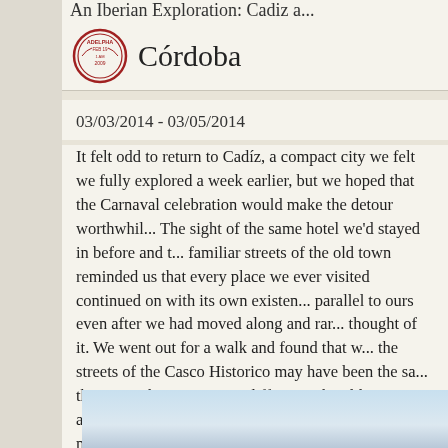An Iberian Exploration: Cadiz a...
Córdoba
03/03/2014 - 03/05/2014
It felt odd to return to Cadíz, a compact city we felt we fully explored a week earlier, but we hoped that the Carnaval celebration would make the detour worthwhile. The sight of the same hotel we'd stayed in before and the familiar streets of the old town reminded us that every place we ever visited continued on with its own existence parallel to ours even after we had moved along and rarely thought of it. We went out for a walk and found that while the streets of the Casco Historico may have been the same, the atmosphere was quite different. The old town was already packed with revelers in the early evening, many of them in colorful and creative costumes.
[Figure (photo): Partial view of a sky photo, bottom portion of page]